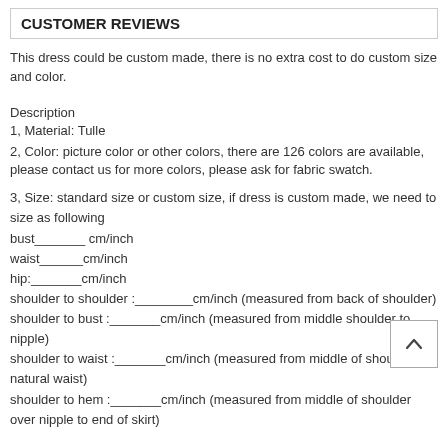CUSTOMER REVIEWS
This dress could be custom made, there is no extra cost to do custom size and color.
Description
1, Material: Tulle
2, Color: picture color or other colors, there are 126 colors are available, please contact us for more colors, please ask for fabric swatch.
3, Size: standard size or custom size, if dress is custom made, we need to size as following
bust_______ cm/inch
waist______cm/inch
hip:_______cm/inch
shoulder to shoulder :________cm/inch (measured from back of shoulder)
shoulder to bust :_______cm/inch (measured from middle shoulder to nipple)
shoulder to waist :_______cm/inch (measured from middle of shoulder to natural waist)
shoulder to hem :_______cm/inch (measured from middle of shoulder over nipple to end of skirt)